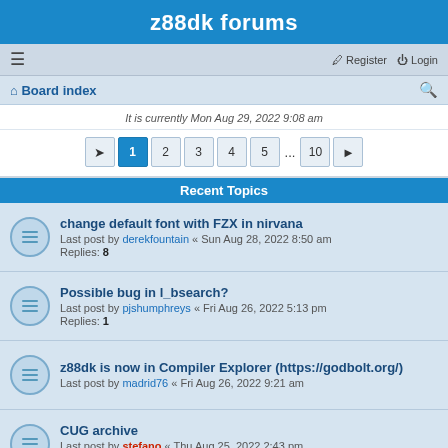z88dk forums
≡   Register  Login
⌂ Board index
It is currently Mon Aug 29, 2022 9:08 am
Pagination: 1 2 3 4 5 ... 10
Recent Topics
change default font with FZX in nirvana
Last post by derekfountain « Sun Aug 28, 2022 8:50 am
Replies: 8
Possible bug in l_bsearch?
Last post by pjshumphreys « Fri Aug 26, 2022 5:13 pm
Replies: 1
z88dk is now in Compiler Explorer (https://godbolt.org/)
Last post by madrid76 « Fri Aug 26, 2022 9:21 am
CUG archive
Last post by stefano « Thu Aug 25, 2022 2:43 pm
Replies: 1
nightly.z88dk.org =(
Last post by iratahack « Tue Aug 23, 2022 3:21 pm
Replies: 2